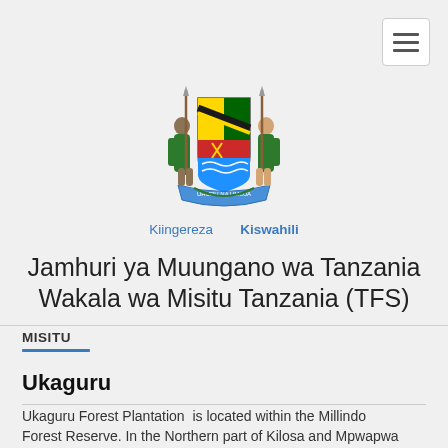[Figure (logo): Coat of arms of Tanzania — two figures flanking a shield with national symbols, on a decorative base]
Kiingereza  Kiswahili
Jamhuri ya Muungano wa Tanzania Wakala wa Misitu Tanzania (TFS)
MISITU
Ukaguru
Ukaguru Forest Plantation  is located within the Millindo Forest Reserve. In the Northern part of Kilosa and Mpwapwa